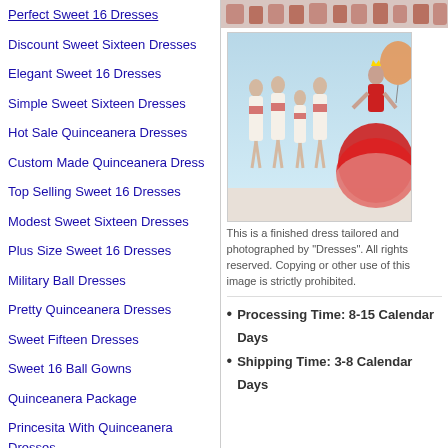Perfect Sweet 16 Dresses
Discount Sweet Sixteen Dresses
Elegant Sweet 16 Dresses
Simple Sweet Sixteen Dresses
Hot Sale Quinceanera Dresses
Custom Made Quinceanera Dress
Top Selling Sweet 16 Dresses
Modest Sweet Sixteen Dresses
Plus Size Sweet 16 Dresses
Military Ball Dresses
Pretty Quinceanera Dresses
Sweet Fifteen Dresses
Sweet 16 Ball Gowns
Quinceanera Package
Princesita With Quinceanera Dresses
Real Sample Quinceanera Dresses
Beautiful Quinceanera Dresses
Gorgeous Quinceanera Dresses
Fashionable Quinceanera Dresses
Removable Skirt Quinceanera Dresses
Matching Sister Quinceanera Dresses
[Figure (photo): Strip of hand/shoe images at top right]
[Figure (photo): Group of girls in quinceanera dresses - bridesmaids in white short dresses and one in a large red ball gown, posed against a light blue background]
This is a finished dress tailored and photographed by "Dresses". All rights reserved. Copying or other use of this image is strictly prohibited.
Processing Time: 8-15 Calendar Days
Shipping Time: 3-8 Calendar Days